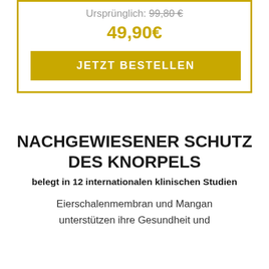Ursprünglich: 99,80 €
49,90€
JETZT BESTELLEN
NACHGEWIESENER SCHUTZ DES KNORPELS
belegt in 12 internationalen klinischen Studien
Eierschalenmembran und Mangan unterstützen ihre Gesundheit und